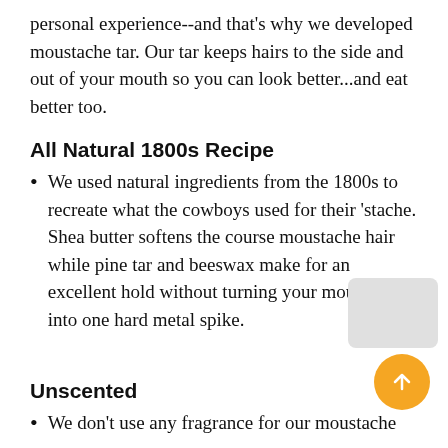personal experience--and that's why we developed moustache tar.  Our tar keeps hairs to the side and out of your mouth so you can look better...and eat better too.
All Natural 1800s Recipe
We used natural ingredients from the 1800s to recreate what the cowboys used for their 'stache.  Shea butter softens the course moustache hair while pine tar and beeswax make for an excellent hold without turning your moustache into one hard metal spike.
Unscented
We don't use any fragrance for our moustache